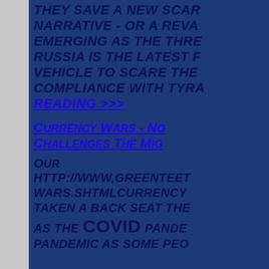THEY SAVE A NEW SCAR NARRATIVE - OR A REVA EMERGING AS THE THRE RUSSIA IS THE LATEST F VEHICLE TO SCARE THE COMPLIANCE WITH TYRA
READING >>>
CURRENCY WARS - NO CHALLENGES THE MIG
OUR HTTP://WWW,GREENTEET WARS.SHTMLCURRENCY TAKEN A BACK SEAT THE AS THE COVID PANDE PANDEMIC AS SOME PEO